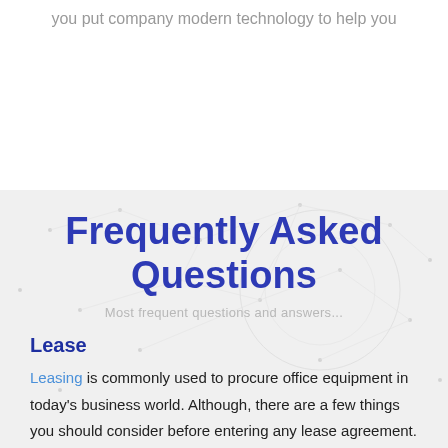you put company modern technology to help you
Frequently Asked Questions
Most frequent questions and answers...
Lease
Leasing is commonly used to procure office equipment in today's business world. Although, there are a few things you should consider before entering any lease agreement. Once the document is executed there is little you can do. Please pay